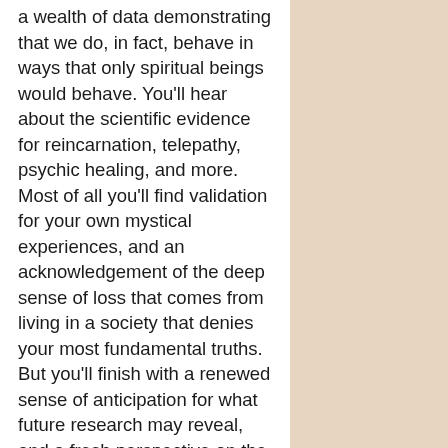a wealth of data demonstrating that we do, in fact, behave in ways that only spiritual beings would behave. You'll hear about the scientific evidence for reincarnation, telepathy, psychic healing, and more. Most of all you'll find validation for your own mystical experiences, and an acknowledgement of the deep sense of loss that comes from living in a society that denies your most fundamental truths. But you'll finish with a renewed sense of anticipation for what future research may reveal, and a fresh perspective on the rocky, but illuminating, path to enlightenment we share. (hosted by Michael Toms)
Bio